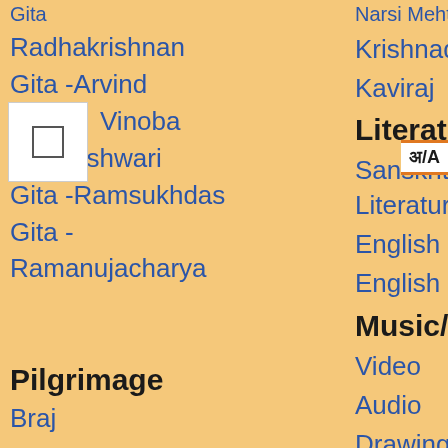Gita
Narsi Mehta
Radhakrishnan
Krishnadas
Gita -Arvind
Kaviraj
Gita  Vinoba
Literature
Gyaneshwari
Sanskrit Literature
Gita -Ramsukhdas
English (Prose)
Gita - Ramanujacharya
English (Verse)
Music/Art
Video
Audio
Drawing
Singing
Dance
Pilgrimage
Braj